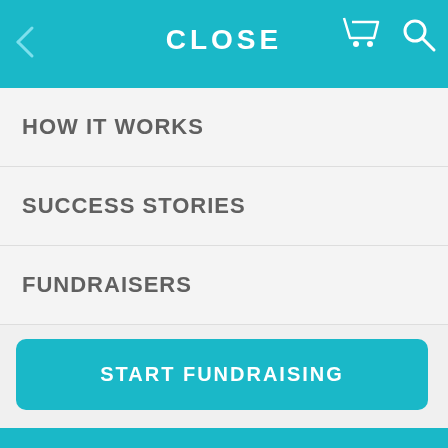CLOSE
HOW IT WORKS
SUCCESS STORIES
FUNDRAISERS
START FUNDRAISING
help
8-862-2775
am-5pm CST)
lp Center
Contact
[Figure (screenshot): Social media icons row: Facebook, Twitter, Pinterest, YouTube, Instagram — white circle outlines on teal background]
Email Sign Up
[Figure (screenshot): Email sign-up input field with mail icon button on teal background]